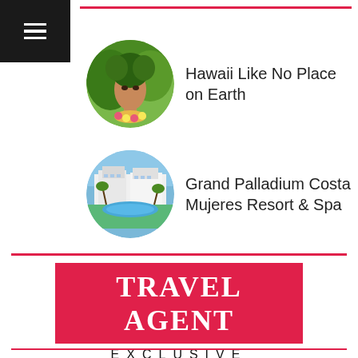[Figure (logo): Hamburger menu icon (three white horizontal lines) on black square background, top left corner]
[Figure (photo): Circular photo of a Hawaiian woman wearing a green leaf lei headdress and floral necklace]
Hawaii Like No Place on Earth
[Figure (photo): Circular aerial photo of Grand Palladium Costa Mujeres Resort showing pools, buildings and tropical grounds]
Grand Palladium Costa Mujeres Resort & Spa
[Figure (logo): Travel Agent Exclusive logo: red rectangle with white bold serif TRAVEL AGENT text, EXCLUSIVE in spaced caps below]
INCENTIVES | CONTESTS | WEBINARS | PODCASTS | EVENTS | JOBS